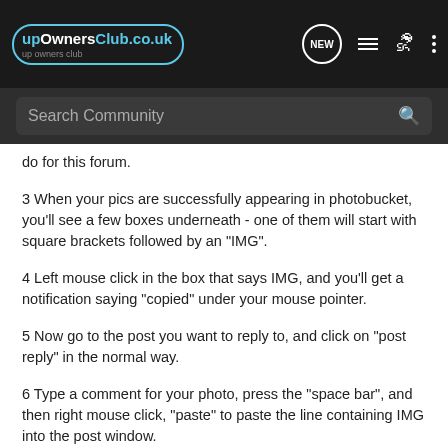[Figure (screenshot): upOwnersClub.co.uk website top navigation bar with logo, NEW speech bubble icon, list icon, person icon, and three-dots menu icon on dark background]
[Figure (screenshot): Search Community search bar on dark grey background with magnifying glass icon]
do for this forum.
3 When your pics are successfully appearing in photobucket, you'll see a few boxes underneath - one of them will start with square brackets followed by an "IMG".
4 Left mouse click in the box that says IMG, and you'll get a notification saying "copied" under your mouse pointer.
5 Now go to the post you want to reply to, and click on "post reply" in the normal way.
6 Type a comment for your photo, press the "space bar", and then right mouse click, "paste" to paste the line containing IMG into the post window.